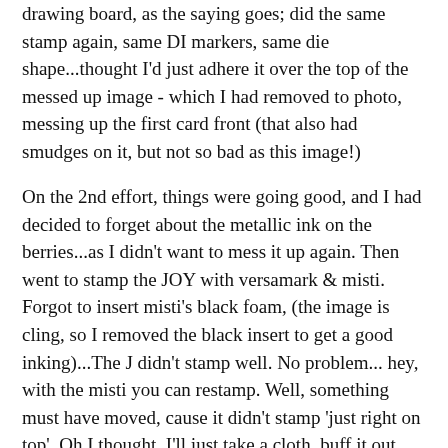drawing board, as the saying goes; did the same stamp again, same DI markers, same die shape...thought I'd just adhere it over the top of the messed up image - which I had removed to photo, messing up the first card front (that also had smudges on it, but not so bad as this image!)
On the 2nd effort, things were going good, and I had decided to forget about the metallic ink on the berries...as I didn't want to mess it up again. Then went to stamp the JOY with versamark & misti. Forgot to insert misti's black foam, (the image is cling, so I removed the black insert to get a good inking)...The J didn't stamp well. No problem... hey, with the misti you can restamp. Well, something must have moved, cause it didn't stamp 'just right on top'. Oh I thought, I'll just take a cloth, buff it out. Tried and I couldn't see the versamark ink; dropped on the gold EP. WRONG! Looked awful.
Once again, inked up the wreath, did all the same procedures, and kept that black insert right there with the clear JOY stamp so I wouldn't forget again! This time things worked ok. Here's that result.